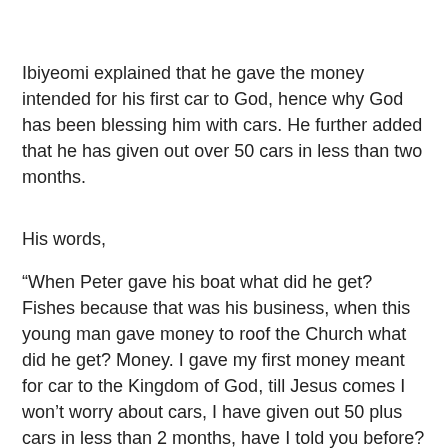Ibiyeomi explained that he gave the money intended for his first car to God, hence why God has been blessing him with cars. He further added that he has given out over 50 cars in less than two months.
His words,
“When Peter gave his boat what did he get? Fishes because that was his business, when this young man gave money to roof the Church what did he get? Money. I gave my first money meant for car to the Kingdom of God, till Jesus comes I won’t worry about cars, I have given out 50 plus cars in less than 2 months, have I told you before?
I gave my first $1,000,000 in 2012 when I had no house, I won’t be talking about house now, I have landed